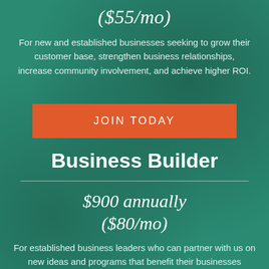($55/mo)
For new and established businesses seeking to grow their customer base, strengthen business relationships, increase community involvement, and achieve higher ROI.
JOIN TODAY
Business Builder
$900 annually ($80/mo)
For established business leaders who can partner with us on new ideas and programs that benefit their businesses